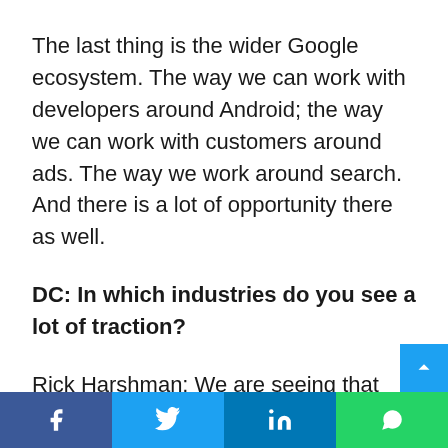The last thing is the wider Google ecosystem. The way we can work with developers around Android; the way we can work with customers around ads. The way we work around search. And there is a lot of opportunity there as well.
DC: In which industries do you see a lot of traction?
Rick Harshman: We are seeing that across industries, whether it is retail, manufacturing, FMCG, e-commerce, telco, airlines. All of tho